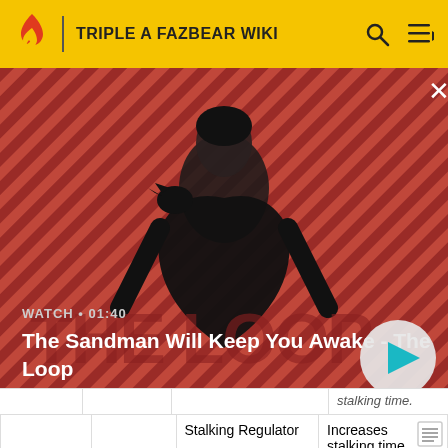TRIPLE A FAZBEAR WIKI
[Figure (screenshot): Hero video thumbnail: The Sandman character standing with a raven on his shoulder, against a red and dark diagonal striped background. Video label shows WATCH • 01:40. Title: The Sandman Will Keep You Awake - The Loop. Play button visible.]
|  | Category | Name | Description |
| --- | --- | --- | --- |
|  |  | Stalking Regulator | Increases stalking time. |
| [image] | Wear & Tear | Hydropneumatic Suspension | Decreases wear and tear damage |